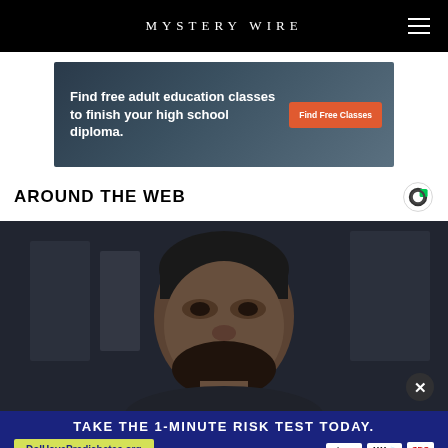MYSTERY WIRE
[Figure (illustration): Advertisement banner: Find free adult education classes to finish your high school diploma. Find Free Classes button.]
AROUND THE WEB
[Figure (photo): Close-up photo of a man with dark hair and beard, looking to the side, in dim lighting.]
[Figure (illustration): Bottom advertisement: TAKE THE 1-MINUTE RISK TEST TODAY. DoIHavePrediabetes.org with ad council, AMA, and CDC logos.]